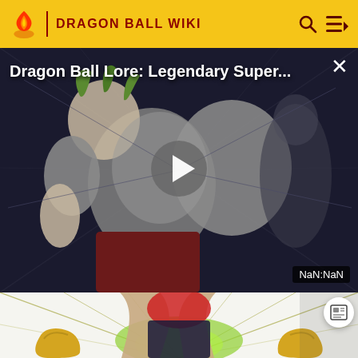DRAGON BALL WIKI
[Figure (screenshot): Dragon Ball Lore: Legendary Super... video player showing an anime character (Broly) with a play button in the center and timestamp NaN:NaN at bottom right]
[Figure (illustration): Bottom portion showing an anime character crouching with green energy and yellow boots visible]